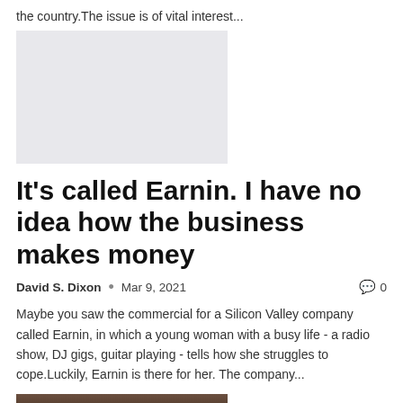the country.The issue is of vital interest...
[Figure (other): Gray placeholder advertisement image]
It’s called Earnin. I have no idea how the business makes money
David S. Dixon • Mar 9, 2021 ⊙ 0
Maybe you saw the commercial for a Silicon Valley company called Earnin, in which a young woman with a busy life - a radio show, DJ gigs, guitar playing - tells how she struggles to cope.Luckily, Earnin is there for her. The company...
[Figure (photo): Partial photo at bottom of page, dark brown tones suggesting a person or scene]